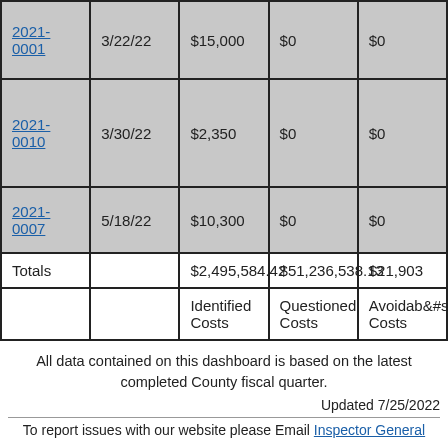| Report | Date | Identified Costs | Questioned Costs | Avoidable Costs |
| --- | --- | --- | --- | --- |
| 2021-0001 | 3/22/22 | $15,000 | $0 | $0 |
| 2021-0010 | 3/30/22 | $2,350 | $0 | $0 |
| 2021-0007 | 5/18/22 | $10,300 | $0 | $0 |
| Totals |  | $2,495,584.42 | $51,236,538.13 | $21,903 |
|  |  | Identified Costs | Questioned Costs | Avoidable Costs |
All data contained on this dashboard is based on the latest completed County fiscal quarter.
Updated 7/25/2022
To report issues with our website please Email Inspector General